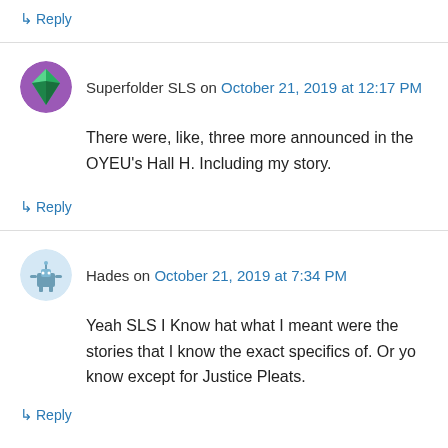↳ Reply
Superfolder SLS on October 21, 2019 at 12:17 PM
There were, like, three more announced in the OYEU's Hall H. Including my story.
↳ Reply
Hades on October 21, 2019 at 7:34 PM
Yeah SLS I Know hat what I meant were the stories that I know the exact specifics of. Or yo know except for Justice Pleats.
↳ Reply